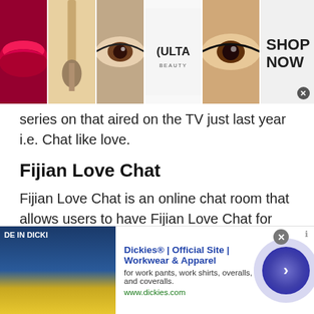[Figure (other): Top banner advertisement for Ulta Beauty showing makeup images (lips, brush, eye, Ulta logo, eye closeup) and SHOP NOW text]
series on that aired on the TV just last year i.e. Chat like love.
Fijian Love Chat
Fijian Love Chat is an online chat room that allows users to have Fijian Love Chat for free and without any registration. If you want to be romantic with someone or engage in Fijian Love Chat with cool boys and beautiful girls, then Talk With Stranger Fijian Love Chat room is the
[Figure (other): Bottom banner advertisement for Dickies workwear showing image of person in Dickies clothing and text: Dickies® | Official Site | Workwear & Apparel, for work pants, work shirts, overalls, and coveralls. www.dickies.com]